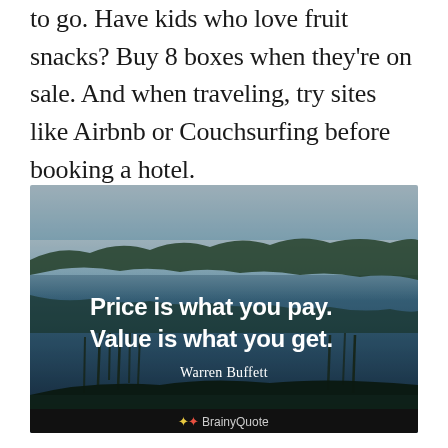to go. Have kids who love fruit snacks? Buy 8 boxes when they're on sale. And when traveling, try sites like Airbnb or Couchsurfing before booking a hotel.
[Figure (illustration): Quote image over a misty lake/nature background. Bold white text reads: 'Price is what you pay. Value is what you get.' with attribution 'Warren Buffett'. BrainyQuote logo at bottom.]